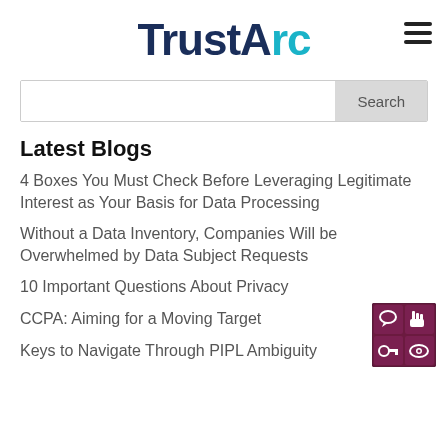TrustArc
Latest Blogs
4 Boxes You Must Check Before Leveraging Legitimate Interest as Your Basis for Data Processing
Without a Data Inventory, Companies Will be Overwhelmed by Data Subject Requests
10 Important Questions About Privacy
CCPA: Aiming for a Moving Target
Keys to Navigate Through PIPL Ambiguity
[Figure (other): TrustArc widget icon showing a 2x2 grid of small icons including speech bubble, hand, key, and eye symbols]